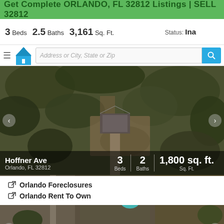Get Complete ORLANDO, FL 32812 Listings | SELL 32812
3 Beds  2.5 Baths  3,161 Sq. Ft.   Status: Inactive
[Figure (screenshot): Aerial/satellite map view of property on Hoffner Ave, Orlando FL 32812. Shows wooded area with house visible. Property stats: 3 Beds, 2 Baths, 1,800 sq. ft.]
[Figure (screenshot): Aerial/satellite map view of property on Pullman Dr, Orlando FL 32812. Shows suburban neighborhood with houses and pool visible. Property stats: 2 Beds, 2 Baths, 1,027 sq. ft.]
Orlando Foreclosures
Orlando Rent To Own